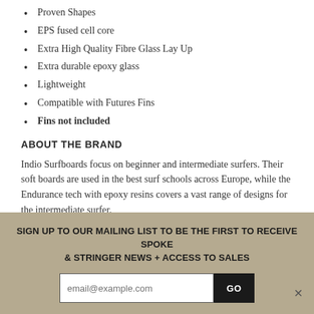Proven Shapes
EPS fused cell core
Extra High Quality Fibre Glass Lay Up
Extra durable epoxy glass
Lightweight
Compatible with Futures Fins
Fins not included
ABOUT THE BRAND
Indio Surfboards focus on beginner and intermediate surfers. Their soft boards are used in the best surf schools across Europe, while the Endurance tech with epoxy resins covers a vast range of designs for the intermediate surfer.
We have hand-picked some of the best Indio Endurance Surfboards for those looking to improve their skills and for more experienced surfers
SIGN UP TO OUR MAILING LIST TO BE THE FIRST TO RECEIVE SPOKE & STRINGER NEWS + ACCESS TO SALES